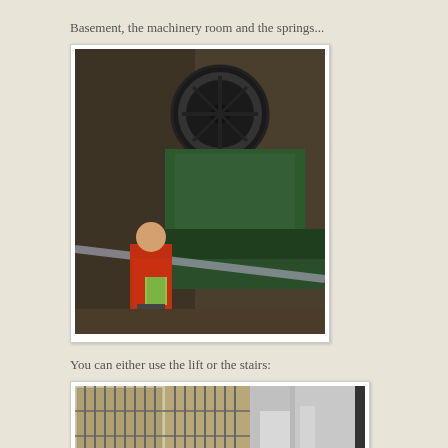Basement, the machinery room and the springs...
[Figure (photo): A child standing in a basement machinery room next to large green industrial machinery with a flywheel]
You can either use the lift or the stairs:
[Figure (photo): A child standing next to decorative metal lift doors and a shiny elevator in what appears to be a historic building]